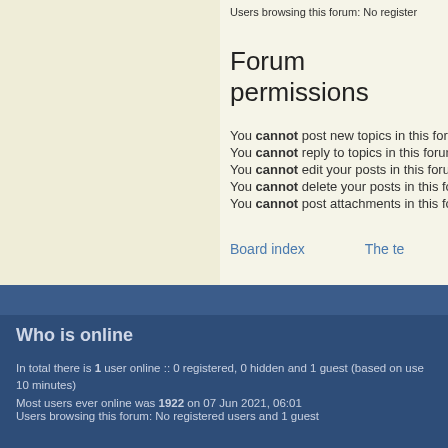Users browsing this forum: No register
Forum permissions
You cannot post new topics in this forum
You cannot reply to topics in this forum
You cannot edit your posts in this forum
You cannot delete your posts in this forum
You cannot post attachments in this forum
Board index   The te
Who is online
In total there is 1 user online :: 0 registered, 0 hidden and 1 guest (based on users active over the past 10 minutes)
Most users ever online was 1922 on 07 Jun 2021, 06:01
Users browsing this forum: No registered users and 1 guest